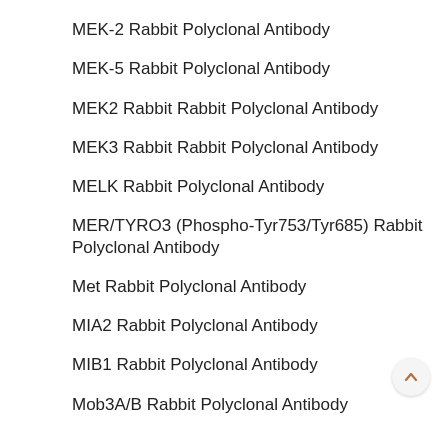MEK-2 Rabbit Polyclonal Antibody
MEK-5 Rabbit Polyclonal Antibody
MEK2 Rabbit Rabbit Polyclonal Antibody
MEK3 Rabbit Rabbit Polyclonal Antibody
MELK Rabbit Polyclonal Antibody
MER/TYRO3 (Phospho-Tyr753/Tyr685) Rabbit Polyclonal Antibody
Met Rabbit Polyclonal Antibody
MIA2 Rabbit Polyclonal Antibody
MIB1 Rabbit Polyclonal Antibody
Mob3A/B Rabbit Polyclonal Antibody